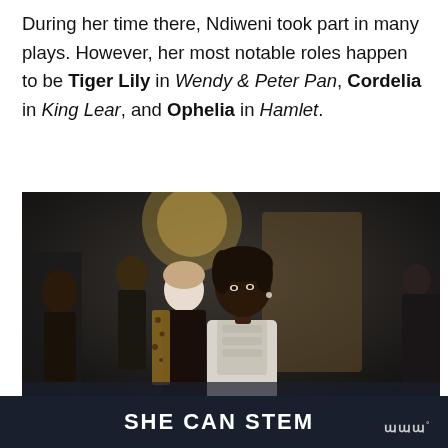During her time there, Ndiweni took part in many plays. However, her most notable roles happen to be Tiger Lily in Wendy & Peter Pan, Cordelia in King Lear, and Ophelia in Hamlet.
[Figure (photo): A theatrical stage photo showing a young Black woman in a white lace dress standing center stage, with other cast members including a woman in dark clothing with a leopard print accessory behind her, and additional actors in the background. Dark, dramatic stage lighting.]
SHE CAN STEM